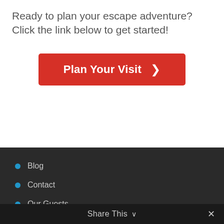Ready to plan your escape adventure? Click the link below to get started!
[Figure (other): Red button with white text 'Plan Your Visit' and a right-pointing chevron arrow]
Blog
Contact
Our Guests
FAQs
Privacy Policy
Share This ∨  ✕